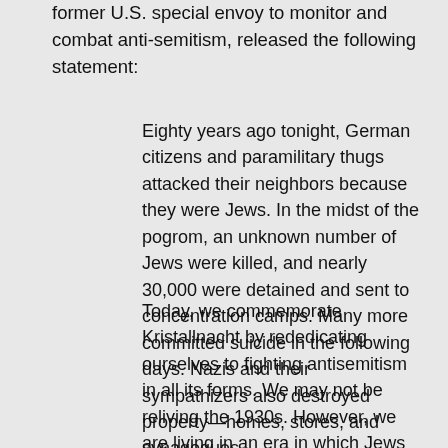former U.S. special envoy to monitor and combat anti-semitism, released the following statement:
Eighty years ago tonight, German citizens and paramilitary thugs attacked their neighbors because they were Jews. In the midst of the pogrom, an unknown number of Jews were killed, and nearly 30,000 were detained and sent to concentration camps. Many more committed suicide in the following days. Nazis and their sympathizers also destroyed property—homes, stores, and synagogues.
Today, we commemorate Kristallnacht by rededicating ourselves to fighting antisemitism in all its forms. We may not be reliving the 1930s. However, we are living in an era in which Jews are once again being murdered for their religious and cultural identity. We live in an era in which politicians are once again stirring hate and resentment for political gain. We live in an era in which those seeking to flee violence and persecution are once again being turned away by those who should offer safe harbor. We live in an era in which merely saying “never again” is not